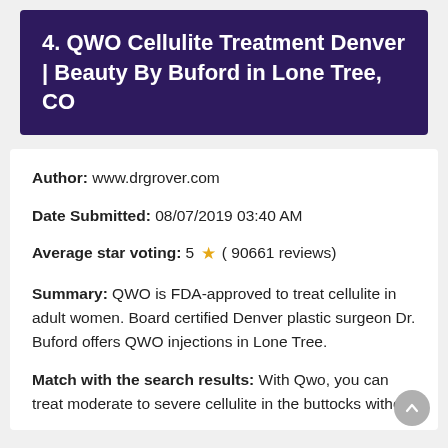4. QWO Cellulite Treatment Denver | Beauty By Buford in Lone Tree, CO
Author: www.drgrover.com
Date Submitted: 08/07/2019 03:40 AM
Average star voting: 5 ★ ( 90661 reviews)
Summary: QWO is FDA-approved to treat cellulite in adult women. Board certified Denver plastic surgeon Dr. Buford offers QWO injections in Lone Tree.
Match with the search results: With Qwo, you can treat moderate to severe cellulite in the buttocks without